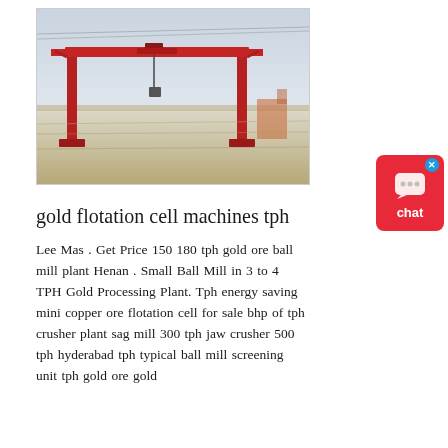[Figure (photo): Outdoor industrial site showing a large red gantry crane straddling a wide concrete channel or basin filled with light-colored material (sand or ore), with hazy sky in the background.]
gold flotation cell machines tph
Lee Mas . Get Price 150 180 tph gold ore ball mill plant Henan . Small Ball Mill in 3 to 4 TPH Gold Processing Plant. Tph energy saving mini copper ore flotation cell for sale bhp of tph crusher plant sag mill 300 tph jaw crusher 500 tph hyderabad tph typical ball mill screening unit tph gold ore gold